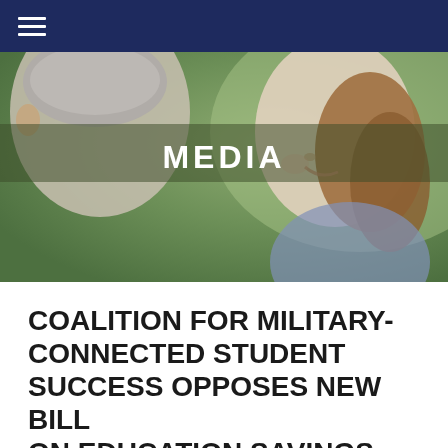☰ (navigation menu)
[Figure (photo): Hero banner image showing two people (an older person and a young girl with a ponytail) facing each other outdoors with a green blurred background. A semi-transparent overlay banner with the word MEDIA is centered over the image.]
COALITION FOR MILITARY-CONNECTED STUDENT SUCCESS OPPOSES NEW BILL ON EDUCATION SAVINGS ACCOUNTS